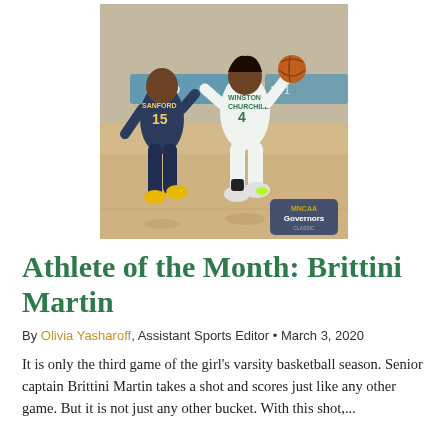[Figure (photo): Basketball action photo: A player in a white Winston Churchill #4 jersey dribbles the ball past a defender in a dark Sanford #15 jersey on an indoor hardwood court. A 'Governors' logo watermark appears in the bottom right corner.]
Athlete of the Month: Brittini Martin
By Olivia Yasharoff, Assistant Sports Editor • March 3, 2020
It is only the third game of the girl's varsity basketball season. Senior captain Brittini Martin takes a shot and scores just like any other game. But it is not just any other bucket. With this shot,...